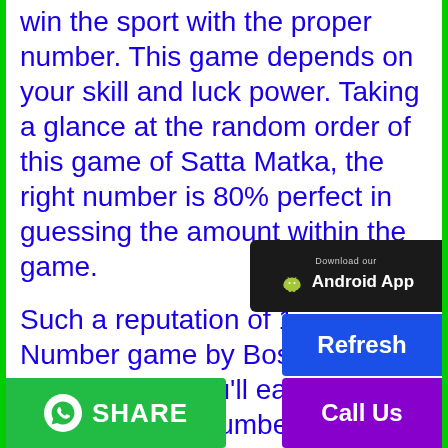win the sport with the proper number. This game depends on your skill and luck power. Taking a glance at the random order of this game of Satta Matka, the right number is 80% perfect in guessing the amount within the game.
Such a reputation of 1 game is Number game by Boss Matka, during which you'll earn money with play. This number game has gained recognition in India, today it's referred to as the famous game. India Ma... s game attracts players and viewers and creates the interest within
[Figure (other): Download our Android App banner - dark background with Android logo and text 'Download our Android App']
[Figure (other): Blue Refresh button]
[Figure (other): Purple Call Us button]
[Figure (other): Green WhatsApp Share button on bottom left]